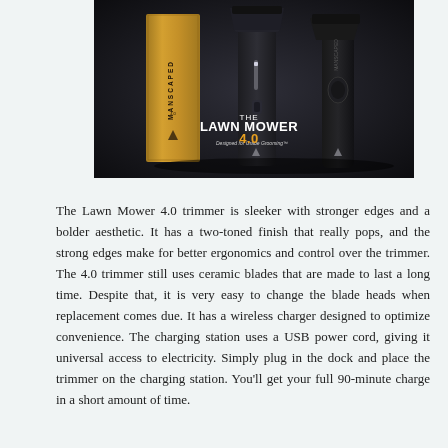[Figure (photo): Product photo of the Lawn Mower 4.0 trimmer by Manscaped, showing the device and its gold packaging box against a dark background, with the text 'THE LAWN MOWER 4.0' visible on the box.]
The Lawn Mower 4.0 trimmer is sleeker with stronger edges and a bolder aesthetic. It has a two-toned finish that really pops, and the strong edges make for better ergonomics and control over the trimmer. The 4.0 trimmer still uses ceramic blades that are made to last a long time. Despite that, it is very easy to change the blade heads when replacement comes due. It has a wireless charger designed to optimize convenience. The charging station uses a USB power cord, giving it universal access to electricity. Simply plug in the dock and place the trimmer on the charging station. You'll get your full 90-minute charge in a short amount of time.